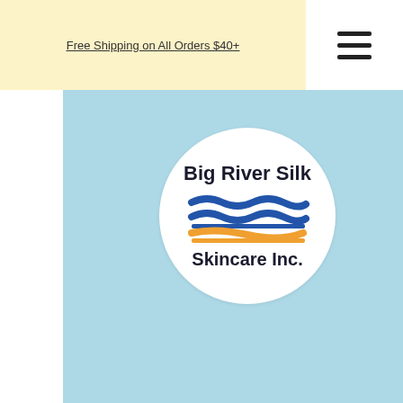Free Shipping on All Orders $40+
[Figure (logo): Big River Silk Skincare Inc. logo — circular white badge on light blue background with company name text and wave graphic in blue and orange]